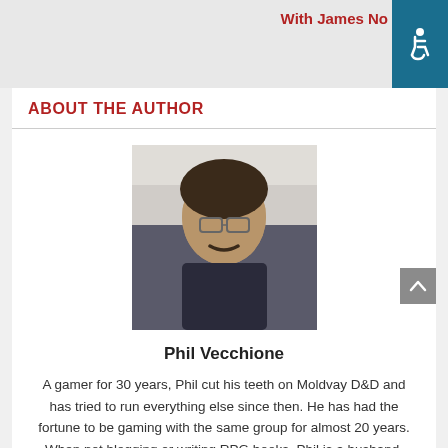With James No
ABOUT THE AUTHOR
[Figure (photo): Headshot photo of Phil Vecchione, a man with glasses and dark hair, wearing a dark shirt]
Phil Vecchione
A gamer for 30 years, Phil cut his teeth on Moldvay D&D and has tried to run everything else since then. He has had the fortune to be gaming with the same group for almost 20 years. When not blogging or writing RPG books, Phil is a husband, father, and project manager. More about Phil.